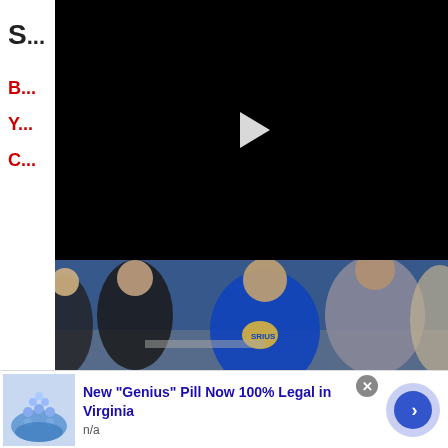S...
B...
Y...
C...
[Figure (screenshot): Black video player with a white play button triangle in the center]
[Figure (photo): Group of students in a blue-themed room, some wearing blue hoodies with a logo]
[Figure (infographic): Advertisement banner: New 'Genius' Pill Now 100% Legal in Virginia, with thumbnail image of blue pills in gloved hand, n/a subtext, close X button, and blue arrow button]